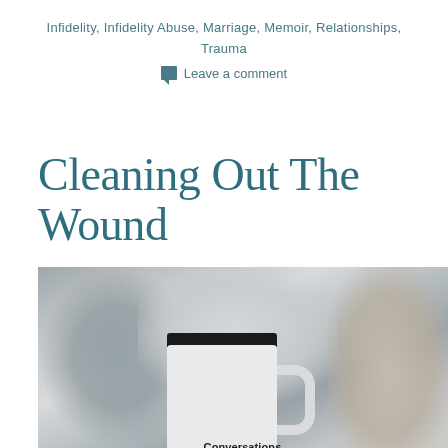Infidelity, Infidelity Abuse, Marriage, Memoir, Relationships, Trauma
Leave a comment
Cleaning Out The Wound
[Figure (photo): A white ceramic coffee mug with the word 'Conversations' printed on it, photographed on a table with blurred background objects in grey and beige tones.]